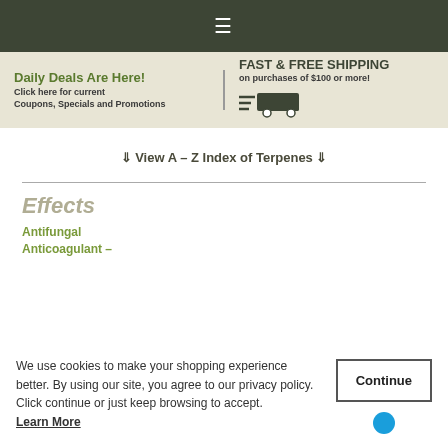≡ (hamburger menu icon)
Daily Deals Are Here! Click here for current Coupons, Specials and Promotions
FAST & FREE SHIPPING on purchases of $100 or more!
⇓ View A – Z Index of Terpenes ⇓
Effects
Antifungal
Anticoagulant –
We use cookies to make your shopping experience better. By using our site, you agree to our privacy policy. Click continue or just keep browsing to accept.
Learn More